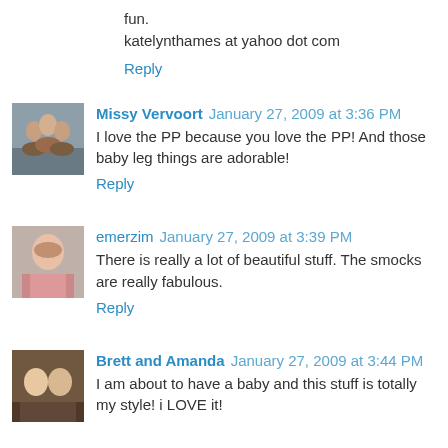fun.
katelynthames at yahoo dot com
Reply
Missy Vervoort  January 27, 2009 at 3:36 PM
I love the PP because you love the PP! And those baby leg things are adorable!
Reply
emerzim  January 27, 2009 at 3:39 PM
There is really a lot of beautiful stuff. The smocks are really fabulous.
Reply
Brett and Amanda  January 27, 2009 at 3:44 PM
I am about to have a baby and this stuff is totally my style! i LOVE it!